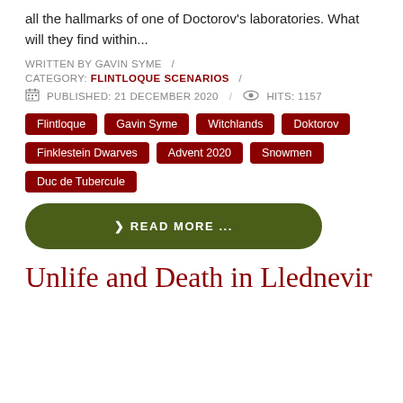all the hallmarks of one of Doctorov's laboratories. What will they find within...
WRITTEN BY GAVIN SYME /
CATEGORY: FLINTLOQUE SCENARIOS /
PUBLISHED: 21 DECEMBER 2020 / HITS: 1157
Flintloque
Gavin Syme
Witchlands
Doktorov
Finklestein Dwarves
Advent 2020
Snowmen
Duc de Tubercule
READ MORE ...
Unlife and Death in Llednevir